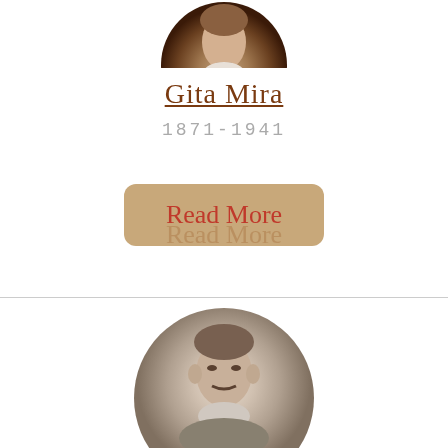[Figure (photo): Circular portrait photo of Gita Mira, cropped at top of page]
Gita Mira
1871-1941
[Figure (other): Rounded rectangle button with tan/khaki background reading 'Read More' in red cursive script]
[Figure (photo): Circular sepia-toned portrait photo of a man with a mustache wearing a suit, partially visible at bottom of page]